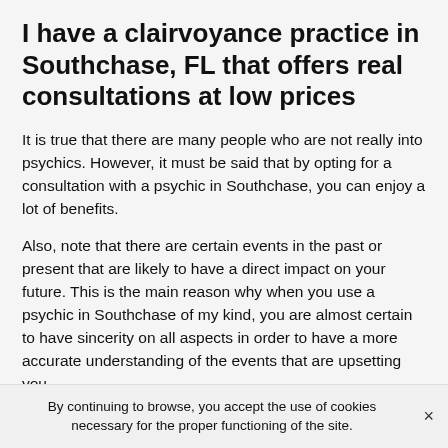I have a clairvoyance practice in Southchase, FL that offers real consultations at low prices
It is true that there are many people who are not really into psychics. However, it must be said that by opting for a consultation with a psychic in Southchase, you can enjoy a lot of benefits.
Also, note that there are certain events in the past or present that are likely to have a direct impact on your future. This is the main reason why when you use a psychic in Southchase of my kind, you are almost certain to have sincerity on all aspects in order to have a more accurate understanding of the events that are upsetting you.
By continuing to browse, you accept the use of cookies necessary for the proper functioning of the site.